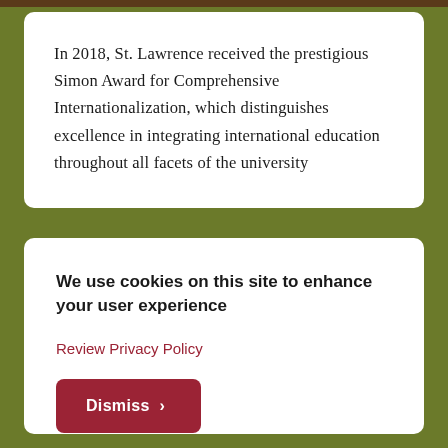In 2018, St. Lawrence received the prestigious Simon Award for Comprehensive Internationalization, which distinguishes excellence in integrating international education throughout all facets of the university
We use cookies on this site to enhance your user experience
Review Privacy Policy
Dismiss ›